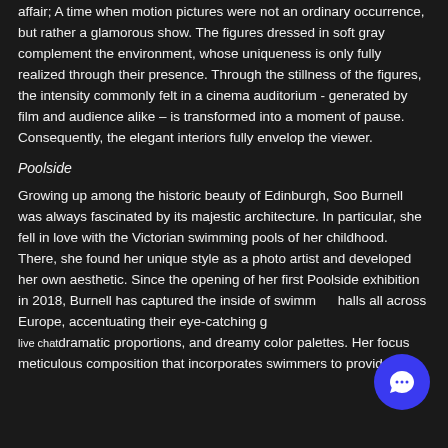affair; A time when motion pictures were not an ordinary occurrence, but rather a glamorous show. The figures dressed in soft gray complement the environment, whose uniqueness is only fully realized through their presence. Through the stillness of the figures, the intensity commonly felt in a cinema auditorium - generated by film and audience alike – is transformed into a moment of pause. Consequently, the elegant interiors fully envelop the viewer.
Poolside
Growing up among the historic beauty of Edinburgh, Soo Burnell was always fascinated by its majestic architecture. In particular, she fell in love with the Victorian swimming pools of her childhood. There, she found her unique style as a photo artist and developed her own aesthetic. Since the opening of her first Poolside exhibition in 2018, Burnell has captured the inside of swimming halls all across Europe, accentuating their eye-catching geometric dramatic proportions, and dreamy color palettes. Her focus meticulous composition that incorporates swimmers to provide a